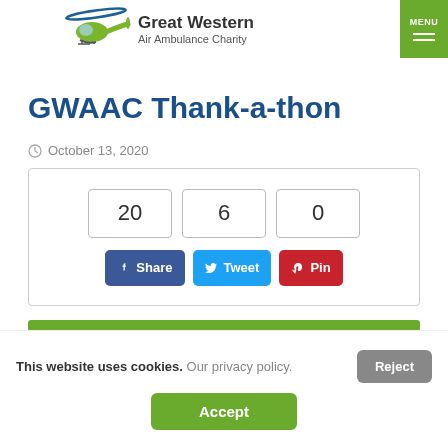[Figure (logo): Great Western Air Ambulance Charity logo with green helicopter and blue text]
GWAAC Thank-a-thon
October 13, 2020
[Figure (other): Counter widget showing numbers 20, 6, 0 with Share, Tweet, Pin social buttons]
[Figure (other): Green bar/banner strip]
This website uses cookies. Our privacy policy. Reject
Accept